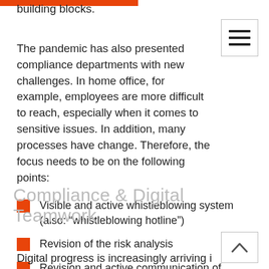building blocks.
The pandemic has also presented compliance departments with new challenges. In home office, for example, employees are more difficult to reach, especially when it comes to sensitive issues. In addition, many processes have change. Therefore, the focus needs to be on the following points:
Visible and active whistleblowing system (also: “whistleblowing hotline”)
Revision of the risk analysis
Revision and active communication of regulations
Attractive design of the online training
Compliance & Digital Teamwork
Digital progress is increasingly arriving in all social as well